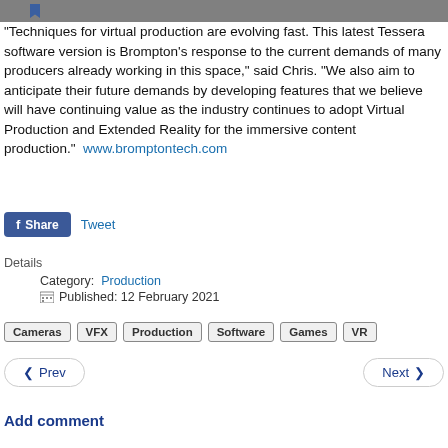“Techniques for virtual production are evolving fast. This latest Tessera software version is Brompton’s response to the current demands of many producers already working in this space,” said Chris. “We also aim to anticipate their future demands by developing features that we believe will have continuing value as the industry continues to adopt Virtual Production and Extended Reality for the immersive content production.”  www.bromptontech.com
f Share   Tweet
Details
Category: Production
Published: 12 February 2021
Cameras  VFX  Production  Software  Games  VR
Prev   Next
Add comment